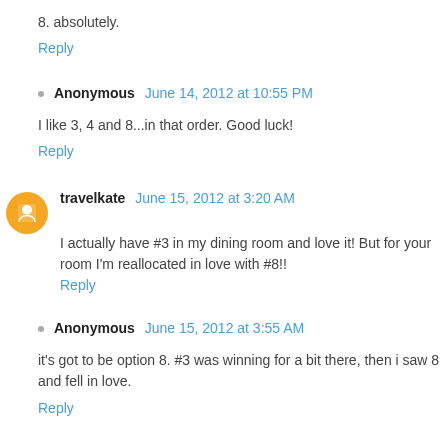8. absolutely.
Reply
Anonymous  June 14, 2012 at 10:55 PM
I like 3, 4 and 8...in that order. Good luck!
Reply
travelkate  June 15, 2012 at 3:20 AM
I actually have #3 in my dining room and love it! But for your room I'm reallocated in love with #8!!
Reply
Anonymous  June 15, 2012 at 3:55 AM
it's got to be option 8. #3 was winning for a bit there, then i saw 8 and fell in love.
Reply